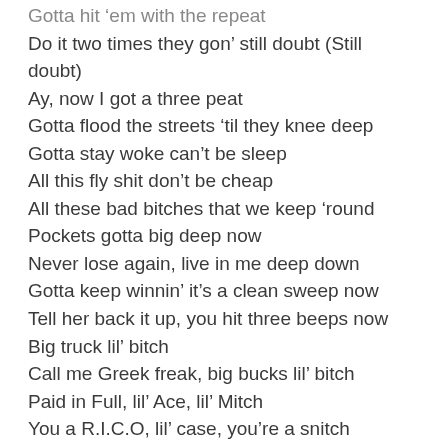Gotta hit 'em with the repeat
Do it two times they gon' still doubt (Still doubt)
Ay, now I got a three peat
Gotta flood the streets 'til they knee deep
Gotta stay woke can't be sleep
All this fly shit don't be cheap
All these bad bitches that we keep 'round
Pockets gotta big deep now
Never lose again, live in me deep down
Gotta keep winnin' it's a clean sweep now
Tell her back it up, you hit three beeps now
Big truck lil' bitch
Call me Greek freak, big bucks lil' bitch
Paid in Full, lil' Ace, lil' Mitch
You a R.I.C.O, lil' case, you're a snitch
Not from Chicago but too shy to speak
[?] Waldo, I'm too hide and seek